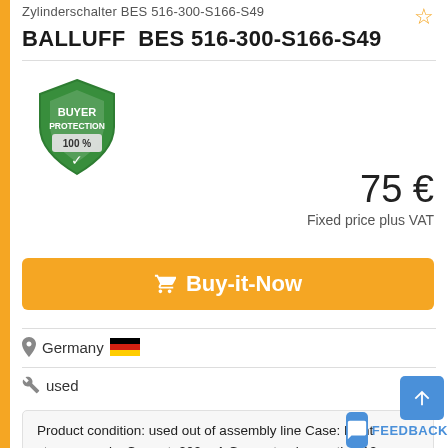Zylinderschalter BES 516-300-S166-S49
BALLUFF BES 516-300-S166-S49
[Figure (logo): Buyer Protection 100% shield logo in green with checkmark]
75 €
Fixed price plus VAT
Buy-it-Now
Germany
used
Product condition: used out of assembly line Case: Light storage marks Current: 200 mA Guarantee in months: 12 Function: Tested loomcnh2i Poles / Cores: 3 Switching State: NPN / PNP: PNP Item No. BES 516-300-S166-S49